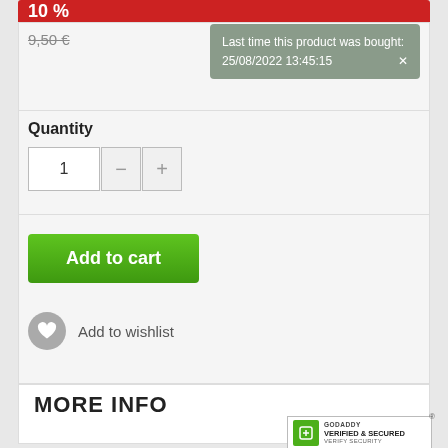10%
9,50 €
Last time this product was bought: 25/08/2022 13:45:15
Quantity
1
Add to cart
Add to wishlist
MORE INFO
Waterslide Decals
This set includes 2 sheets of full colour opaque high-detailed